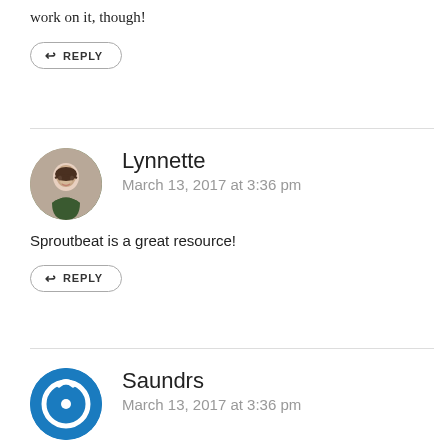work on it, though!
REPLY
Lynnette
March 13, 2017 at 3:36 pm
Sproutbeat is a great resource!
REPLY
Saundrs
March 13, 2017 at 3:36 pm